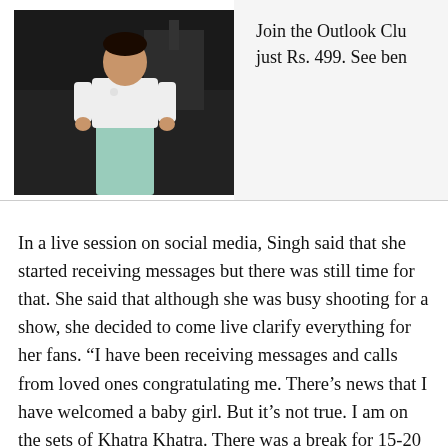[Figure (photo): Person in white t-shirt and light green/mint pants standing in a dark interior setting]
Join the Outlook Clu just Rs. 499. See ben
In a live session on social media, Singh said that she started receiving messages but there was still time for that. She said that although she was busy shooting for a show, she decided to come live clarify everything for her fans. “I have been receiving messages and calls from loved ones congratulating me. There’s news that I have welcomed a baby girl. But it’s not true. I am on the sets of Khatra Khatra. There was a break for 15-20 minutes. So I decided to come live and clarify that I am still working. I am feeling scared. The due date is near,” Bharti said during a live chat session,” she said.